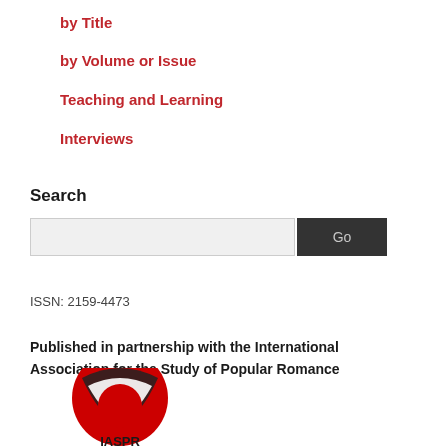by Title
by Volume or Issue
Teaching and Learning
Interviews
Search
ISSN: 2159-4473
Published in partnership with the International Association for the Study of Popular Romance
[Figure (logo): IASPR logo — red circular emblem with IASPR text at bottom]